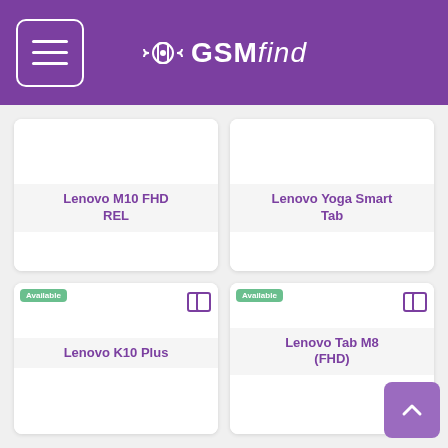GSMfind
Lenovo M10 FHD REL
Lenovo Yoga Smart Tab
Lenovo K10 Plus
Lenovo Tab M8 (FHD)